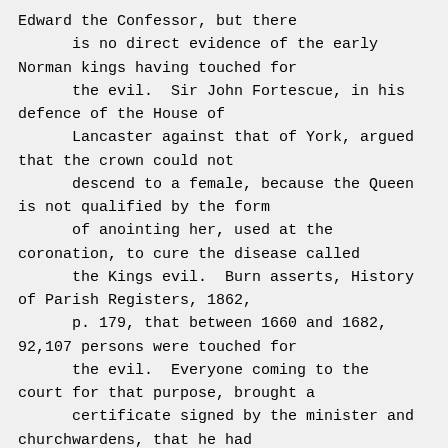Edward the Confessor, but there
      is no direct evidence of the early
Norman kings having touched for
      the evil.  Sir John Fortescue, in his
defence of the House of
      Lancaster against that of York, argued
that the crown could not
      descend to a female, because the Queen
is not qualified by the form
      of anointing her, used at the
coronation, to cure the disease called
      the Kings evil.  Burn asserts, History
of Parish Registers, 1862,
      p. 179, that between 1660 and 1682,
92,107 persons were touched for
      the evil.  Everyone coming to the
court for that purpose, brought a
      certificate signed by the minister and
churchwardens, that he had
      not at any time been touched by His